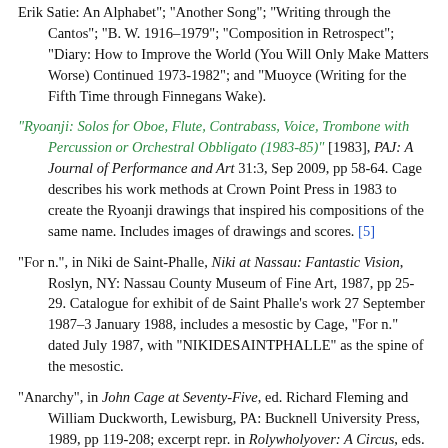Erik Satie: An Alphabet"; "Another Song"; "Writing through the Cantos"; "B. W. 1916–1979"; "Composition in Retrospect"; "Diary: How to Improve the World (You Will Only Make Matters Worse) Continued 1973-1982"; and "Muoyce (Writing for the Fifth Time through Finnegans Wake).
"Ryoanji: Solos for Oboe, Flute, Contrabass, Voice, Trombone with Percussion or Orchestral Obbligato (1983-85)" [1983], PAJ: A Journal of Performance and Art 31:3, Sep 2009, pp 58-64. Cage describes his work methods at Crown Point Press in 1983 to create the Ryoanji drawings that inspired his compositions of the same name. Includes images of drawings and scores. [5]
"For n.", in Niki de Saint-Phalle, Niki at Nassau: Fantastic Vision, Roslyn, NY: Nassau County Museum of Fine Art, 1987, pp 25-29. Catalogue for exhibit of de Saint Phalle's work 27 September 1987–3 January 1988, includes a mesostic by Cage, "For n." dated July 1987, with "NIKIDESAINTPHALLE" as the spine of the mesostic.
"Anarchy", in John Cage at Seventy-Five, ed. Richard Fleming and William Duckworth, Lewisburg, PA: Bucknell University Press, 1989, pp 119-208; excerpt repr. in Rolywholyover: A Circus, eds.